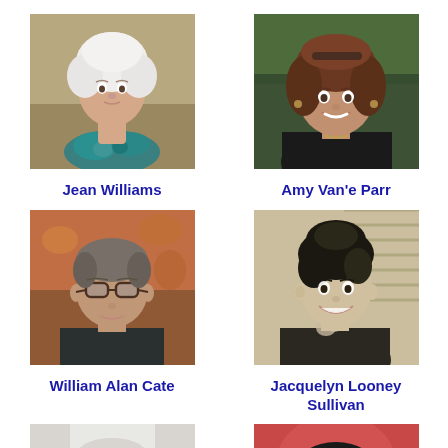[Figure (photo): Portrait photo of Jean Williams, elderly woman with white hair and teal scarf]
Jean Williams
[Figure (photo): Portrait photo of Amy Van'e Parr, younger woman with brown hair, smiling]
Amy Van'e Parr
[Figure (photo): Portrait photo of William Alan Cate, man with glasses in dark shirt, autumn background]
William Alan Cate
[Figure (photo): Portrait photo of Jacquelyn Looney Sullivan, vintage black and white photo of woman smiling]
Jacquelyn Looney Sullivan
[Figure (photo): Portrait photo of person with curly grey hair and glasses]
[Figure (photo): Portrait photo of young woman with dark hair against red/pink background]